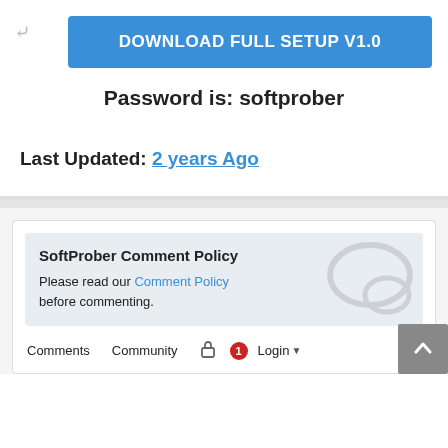[Figure (screenshot): Blue download button with white bold text reading DOWNLOAD FULL SETUP V1.0]
Password is: softprober
Last Updated: 2 years Ago
SoftProber Comment Policy
Please read our Comment Policy before commenting.